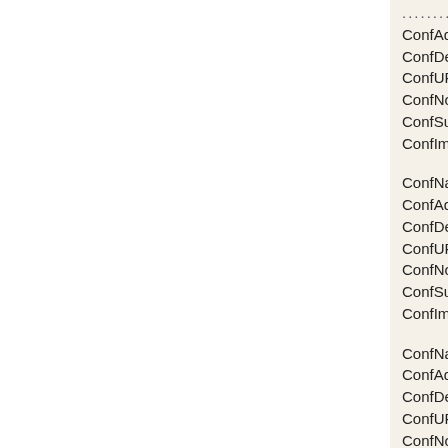............
ConfAddress:="15.-20.6.2008, Columbus, Ohio, USA"
ConfDeadline:="2008-01-10"
ConfURL:="http://www.acl2008.org/"
ConfNote:=""
ConfSubnote:=""
ConfImpact:=""
ConfName:="LREC"
ConfAddress:="26.5.-1.6.2008, مراكش, المغرب"
ConfDeadline:="2007-11-7"
ConfURL:="http://www.lrec-conf.org/lrec2008/"
ConfNote:="Extended deadline"
ConfSubnote:=""
ConfImpact:=""
ConfName:="ANLP/FLAIRS"
ConfAddress:="15.-17.5.2008, Coconut Grove, Florida, USA"
ConfDeadline:="2007-11-21"
ConfURL:="http://www.msstate.edu/de"
ConfNote:=""
ConfSubnote:=""
ConfImpact:=""